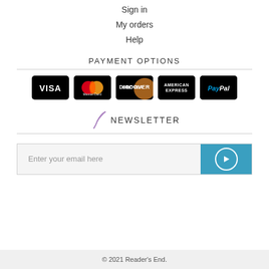Sign in
My orders
Help
PAYMENT OPTIONS
[Figure (logo): Payment method logos: Visa, MasterCard, Discover, American Express, PayPal — white text/logos on black rounded rectangles]
NEWSLETTER
Enter your email here
© 2021 Reader's End.